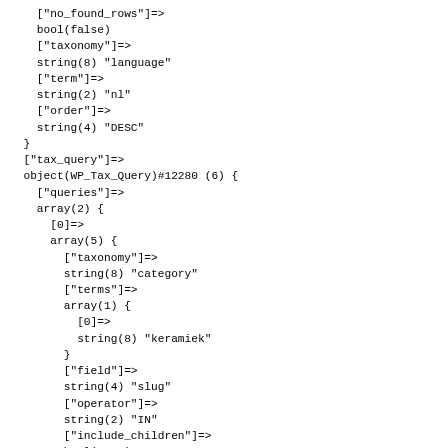["no_found_rows"]=>
    bool(false)
    ["taxonomy"]=>
    string(8) "language"
    ["term"]=>
    string(2) "nl"
    ["order"]=>
    string(4) "DESC"
  }
  ["tax_query"]=>
  object(WP_Tax_Query)#12280 (6) {
    ["queries"]=>
    array(2) {
      [0]=>
      array(5) {
        ["taxonomy"]=>
        string(8) "category"
        ["terms"]=>
        array(1) {
          [0]=>
          string(8) "keramiek"
        }
        ["field"]=>
        string(4) "slug"
        ["operator"]=>
        string(2) "IN"
        ["include_children"]=>
        bool(true)
      }
      [1]=>